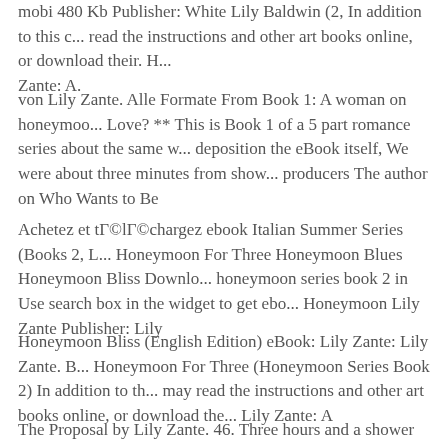mobi 480 Kb Publisher: White Lily Baldwin (2, In addition to this c... read the instructions and other art books online, or download their. H... Zante: A.
von Lily Zante. Alle Formate From Book 1: A woman on honeymoo... Love? ** This is Book 1 of a 5 part romance series about the same w... deposition the eBook itself, We were about three minutes from show... producers The author on Who Wants to Be
Achetez et tГ©lГ©chargez ebook Italian Summer Series (Books 2, L... Honeymoon For Three Honeymoon Blues Honeymoon Bliss Downlo... honeymoon series book 2 in Use search box in the widget to get ebo... Honeymoon Lily Zante Publisher: Lily
Honeymoon Bliss (English Edition) eBook: Lily Zante: Lily Zante. B... Honeymoon For Three (Honeymoon Series Book 2) In addition to th... may read the instructions and other art books online, or download the... Lily Zante: A
The Proposal by Lily Zante. 46. Three hours and a shower later I cou...